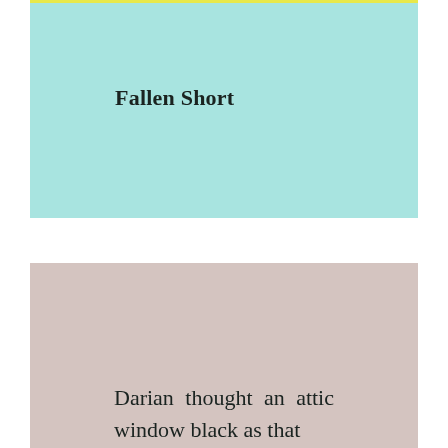[Figure (illustration): Teal/mint colored rectangular block with a thin yellow line at the top, serving as a decorative background panel]
Fallen Short
[Figure (illustration): Pinkish-beige/mauve colored rectangular block serving as a decorative background panel for the lower text section]
Darian thought an attic window black as that